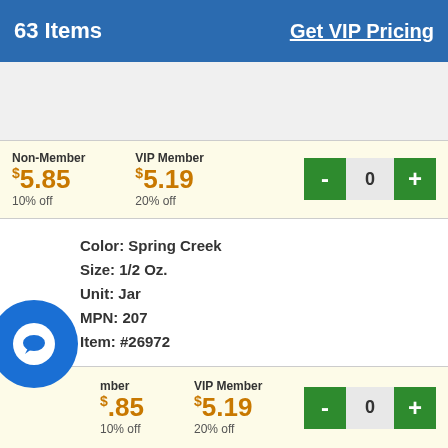63 Items   Get VIP Pricing
Non-Member $5.85 10% off   VIP Member $5.19 20% off
Color: Spring Creek
Size: 1/2 Oz.
Unit: Jar
MPN: 207
Item: #26972
Non-Member $5.85 10% off   VIP Member $5.19 20% off